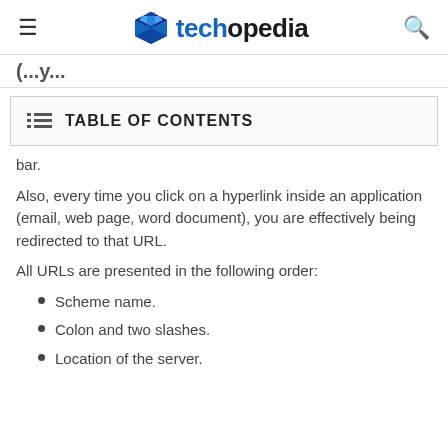techopedia
(...y...
TABLE OF CONTENTS
bar.
Also, every time you click on a hyperlink inside an application (email, web page, word document), you are effectively being redirected to that URL.
All URLs are presented in the following order:
Scheme name.
Colon and two slashes.
Location of the server.